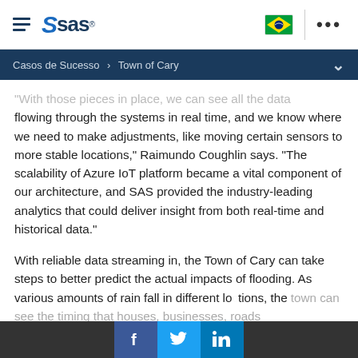SAS logo header with hamburger menu, Brazilian flag, and ellipsis menu
Casos de Sucesso > Town of Cary
"With those pieces in place, we can see all the data flowing through the systems in real time, and we know where we need to make adjustments, like moving certain sensors to more stable locations," Raimundo Coughlin says. "The scalability of Azure IoT platform became a vital component of our architecture, and SAS provided the industry-leading analytics that could deliver insight from both real-time and historical data."
With reliable data streaming in, the Town of Cary can take steps to better predict the actual impacts of flooding. As various amounts of rain fall in different locations, the town can see the timing that houses, businesses, roads
[Figure (other): Social media share bar with Facebook, Twitter, and LinkedIn icons]